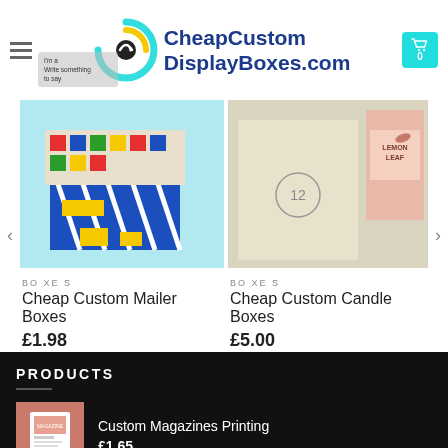[Figure (logo): CheapCustomDisplayBoxes.com logo with circular arrow icon in black, yellow, and cyan, and blue bold text]
[Figure (photo): Colorful custom mailer boxes with geometric patterns on cyan background]
BOXES
Cheap Custom Mailer Boxes
£1.98
[Figure (photo): Cream/beige custom candle boxes with number 12, and pink Lemon Leaf box]
BOXES
Cheap Custom Candle Boxes
£5.00
PRODUCTS
[Figure (photo): Thumbnail of custom magazine printing product on salmon/pink background]
Custom Magazines Printing
£1.65